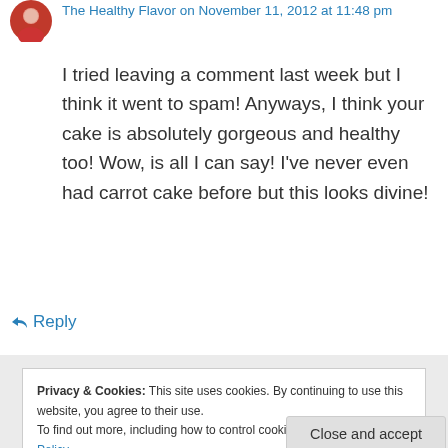The Healthy Flavor on November 11, 2012 at 11:48 pm
I tried leaving a comment last week but I think it went to spam! Anyways, I think your cake is absolutely gorgeous and healthy too! Wow, is all I can say! I've never even had carrot cake before but this looks divine!
↳ Reply
Privacy & Cookies: This site uses cookies. By continuing to use this website, you agree to their use.
To find out more, including how to control cookies, see here: Cookie Policy
Close and accept